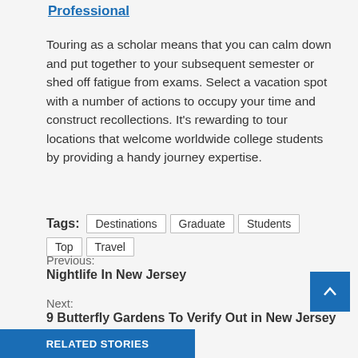Professional
Touring as a scholar means that you can calm down and put together to your subsequent semester or shed off fatigue from exams. Select a vacation spot with a number of actions to occupy your time and construct recollections. It's rewarding to tour locations that welcome worldwide college students by providing a handy journey expertise.
Tags: Destinations Graduate Students Top Travel
Previous: Nightlife In New Jersey
Next: 9 Butterfly Gardens To Verify Out in New Jersey
RELATED STORIES